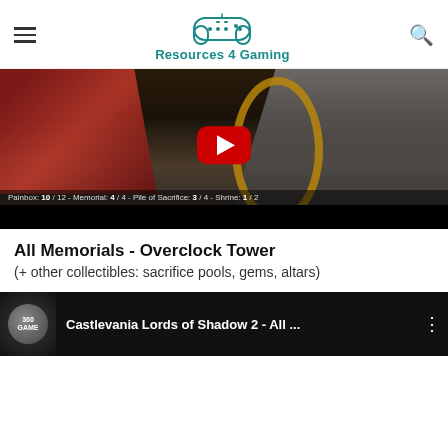Resources 4 Gaming
[Figure (screenshot): Video thumbnail showing a Castlevania Lords of Shadow 2 scene with a red-caped character, golden circular object, and YouTube play button overlay. Subtitle text reads: Painbox: 10 / 12 - Memorial: 4 / 4 - Pile of Sacrifice: 3 / 4 - Shrine: 1 / 2]
All Memorials - Overclock Tower
(+ other collectibles: sacrifice pools, gems, altars)
[Figure (screenshot): YouTube video thumbnail for Castlevania Lords of Shadow 2 - All ... with 360 Game logo on left and three-dot menu on right]